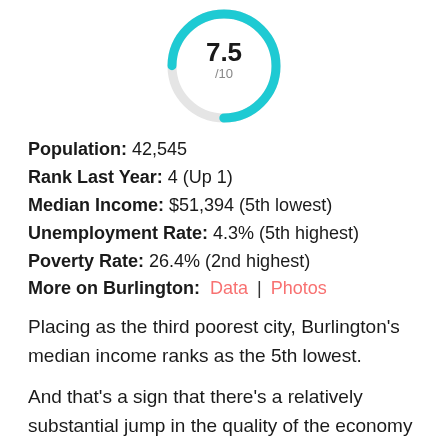[Figure (donut-chart): Score 7.5/10]
Population: 42,545
Rank Last Year: 4 (Up 1)
Median Income: $51,394 (5th lowest)
Unemployment Rate: 4.3% (5th highest)
Poverty Rate: 26.4% (2nd highest)
More on Burlington: Data | Photos
Placing as the third poorest city, Burlington's median income ranks as the 5th lowest.
And that's a sign that there's a relatively substantial jump in the quality of the economy from second to third place on our list. The